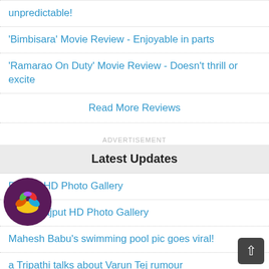unpredictable!
'Bimbisara' Movie Review - Enjoyable in parts
'Ramarao On Duty' Movie Review - Doesn't thrill or excite
Read More Reviews
ADVERTISEMENT
Latest Updates
Debbie HD Photo Gallery
Payal Rajput HD Photo Gallery
Mahesh Babu's swimming pool pic goes viral!
a Tripathi talks about Varun Tej rumour
essed with twin baby boys: Namitha
Vijay Deverakonda can't care less about 'Boycott Liger' trend
[Figure (logo): Colorful worm/chat icon in a dark purple circular chat bubble]
[Figure (other): Dark grey upward arrow button in bottom right corner]